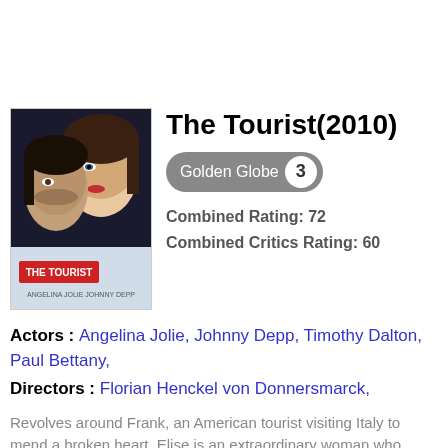[Figure (photo): Movie poster for The Tourist (2010) showing Angelina Jolie and Johnny Depp]
The Tourist(2010)
Golden Globe 3
Combined Rating: 72
Combined Critics Rating: 60
Actors : Angelina Jolie, Johnny Depp, Timothy Dalton, Paul Bettany, Directors : Florian Henckel von Donnersmarck,
Revolves around Frank, an American tourist visiting Italy to mend a broken heart. Elise is an extraordinary woman who deliberately crosses his path.